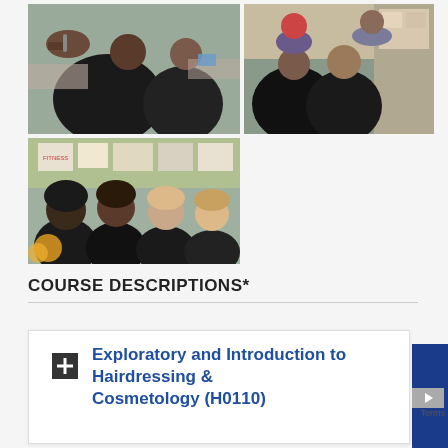[Figure (photo): Top-left photo: students in a cosmetology/hairdressing classroom with black capes, instructor working on student's hair]
[Figure (photo): Top-right photo: hairdressing classroom with students in black capes receiving haircuts from instructors]
[Figure (photo): Bottom-left photo: four female students smiling in black cosmetology uniforms in a classroom setting]
COURSE DESCRIPTIONS*
Exploratory and Introduction to Hairdressing & Cosmetology (H0110)